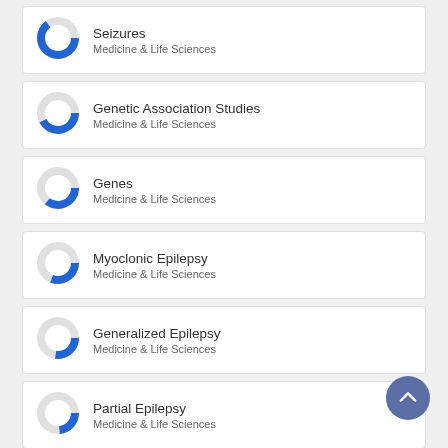[Figure (donut-chart): Donut chart nearly full blue segment ~90%]
Seizures
Medicine & Life Sciences
Genetic Association Studies
Medicine & Life Sciences
Genes
Medicine & Life Sciences
Myoclonic Epilepsy
Medicine & Life Sciences
Generalized Epilepsy
Medicine & Life Sciences
Partial Epilepsy
Medicine & Life Sciences
Premature Mortality
Medicine & Life Sciences